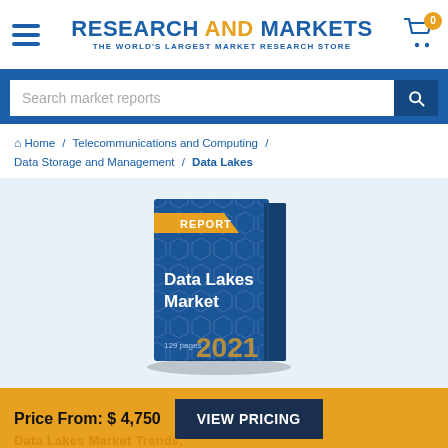RESEARCH AND MARKETS — THE WORLD'S LARGEST MARKET RESEARCH STORE
Search market reports
Home / Telecommunications and Computing / Data Storage and Management / Data Lakes
[Figure (illustration): Book cover for 'Data Lakes Market' report — 2021, 129 pages, blue hexagonal pattern cover with gold REPORT label]
Price From: $ 4,750   VIEW PRICING